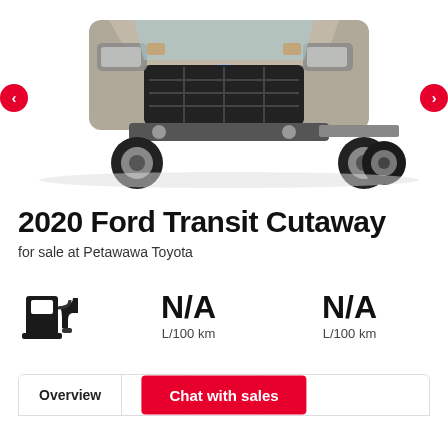[Figure (photo): Front view of a 2020 Ford Transit Cutaway vehicle, silver/grey color, shown on white background. Left and right navigation arrows (red circles) visible at edges.]
2020 Ford Transit Cutaway
for sale at Petawawa Toyota
[Figure (infographic): Fuel pump icon (black) on the left, followed by two fuel efficiency stats both showing N/A in large bold text with L/100 km below each.]
N/A
L/100 km
N/A
L/100 km
Overview  Features  Options
Chat with sales